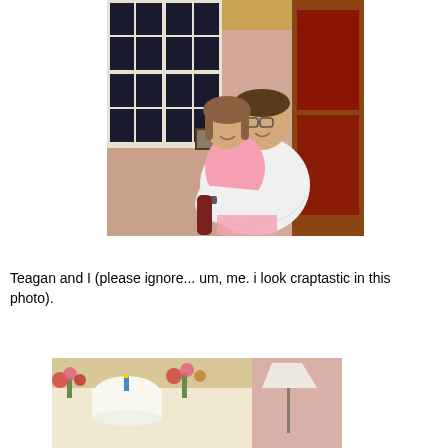[Figure (photo): A man with glasses sitting in a chair holding a young girl in a pink dress on his lap. Behind them is a white window and a wooden cabinet. The room has pink walls.]
Teagan and I (please ignore... um, me. i look craptastic in this photo).
[Figure (photo): A table with a white birthday cake and floral arrangements, in a room with pink walls and a lamp.]